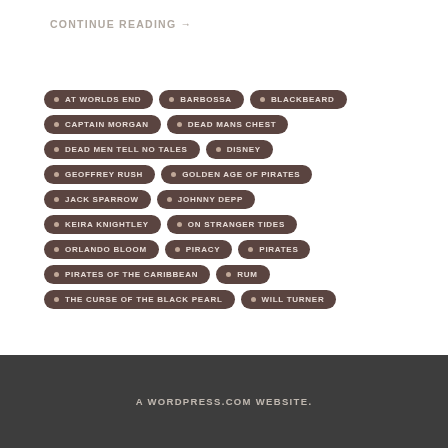CONTINUE READING →
AT WORLDS END
BARBOSSA
BLACKBEARD
CAPTAIN MORGAN
DEAD MANS CHEST
DEAD MEN TELL NO TALES
DISNEY
GEOFFREY RUSH
GOLDEN AGE OF PIRATES
JACK SPARROW
JOHNNY DEPP
KEIRA KNIGHTLEY
ON STRANGER TIDES
ORLANDO BLOOM
PIRACY
PIRATES
PIRATES OF THE CARIBBEAN
RUM
THE CURSE OF THE BLACK PEARL
WILL TURNER
A WORDPRESS.COM WEBSITE.